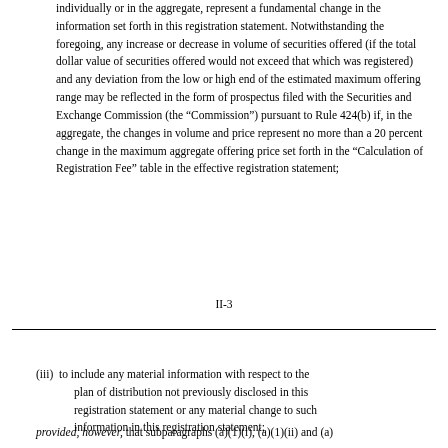individually or in the aggregate, represent a fundamental change in the information set forth in this registration statement. Notwithstanding the foregoing, any increase or decrease in volume of securities offered (if the total dollar value of securities offered would not exceed that which was registered) and any deviation from the low or high end of the estimated maximum offering range may be reflected in the form of prospectus filed with the Securities and Exchange Commission (the “Commission”) pursuant to Rule 424(b) if, in the aggregate, the changes in volume and price represent no more than a 20 percent change in the maximum aggregate offering price set forth in the “Calculation of Registration Fee” table in the effective registration statement;
II-3
(iii) to include any material information with respect to the plan of distribution not previously disclosed in this registration statement or any material change to such information in this registration statement;
provided, however, that subparagraphs (a)(1)(i), (a)(1)(ii) and (a)